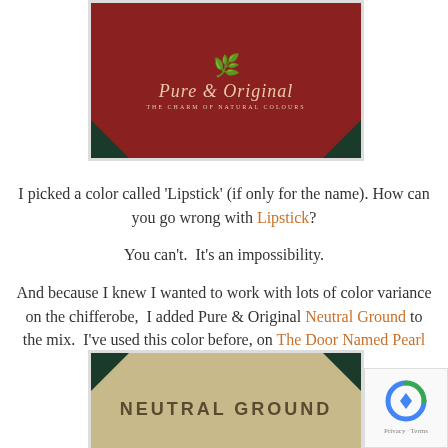[Figure (illustration): Pure & Original paint brand card with dark red background, decorative wreath logo, script brand name 'Pure & Original', tagline 'The Charm of Natural Colours', dark green corner triangles]
I picked a color called 'Lipstick' (if only for the name). How can you go wrong with Lipstick?
You can't. It's an impossibility.
And because I knew I wanted to work with lots of color variance on the chifferobe, I added Pure & Original Neutral Ground to the mix. I've used this color before, on The Door Named Pearl
[Figure (illustration): Pure & Original paint brand card with tan/beige background showing 'NEUTRAL GROUND' label, dark green corner triangles]